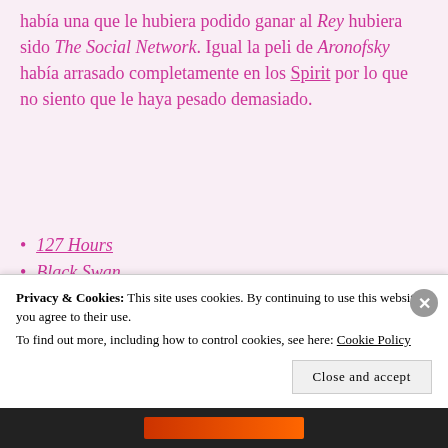había una que le hubiera podido ganar al Rey hubiera sido The Social Network. Igual la peli de Aronofsky había arrasado completamente en los Spirit por lo que no siento que le haya pesado demasiado.
127 Hours
Black Swan
The Fighter
Inception
The Kids Are All Right
Privacy & Cookies: This site uses cookies. By continuing to use this website, you agree to their use. To find out more, including how to control cookies, see here: Cookie Policy